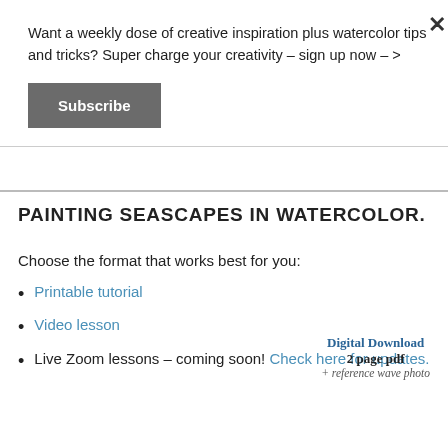Want a weekly dose of creative inspiration plus watercolor tips and tricks? Super charge your creativity – sign up now – >
Subscribe
PAINTING SEASCAPES IN WATERCOLOR.
Choose the format that works best for you:
Printable tutorial
Video lesson
Live Zoom lessons – coming soon! Check here for updates.
Digital Download
2 page pdf
+ reference wave photo